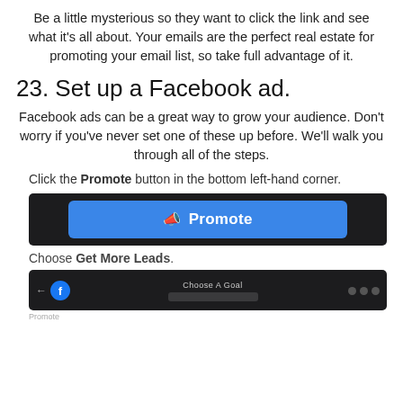Be a little mysterious so they want to click the link and see what it's all about. Your emails are the perfect real estate for promoting your email list, so take full advantage of it.
23. Set up a Facebook ad.
Facebook ads can be a great way to grow your audience. Don't worry if you've never set one of these up before. We'll walk you through all of the steps.
Click the Promote button in the bottom left-hand corner.
[Figure (screenshot): A dark UI screenshot showing a blue 'Promote' button with a megaphone icon.]
Choose Get More Leads.
[Figure (screenshot): A dark UI screenshot showing a Facebook interface with a back arrow, Facebook icon, 'Choose A Goal' label, and dots.]